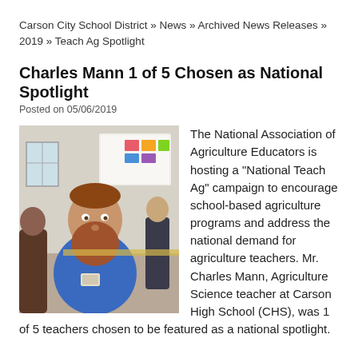Carson City School District » News » Archived News Releases » 2019 » Teach Ag Spotlight
Charles Mann 1 of 5 Chosen as National Spotlight
Posted on 05/06/2019
[Figure (photo): Photo of Charles Mann, a man with a large beard wearing a blue shirt, standing in a classroom environment]
The National Association of Agriculture Educators is hosting a “National Teach Ag” campaign to encourage school-based agriculture programs and address the national demand for agriculture teachers. Mr. Charles Mann, Agriculture Science teacher at Carson High School (CHS), was 1 of 5 teachers chosen to be featured as a national spotlight.